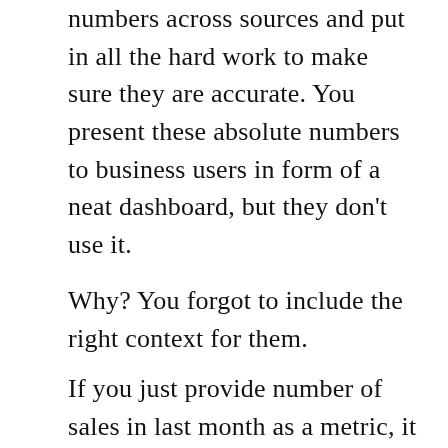numbers across sources and put in all the hard work to make sure they are accurate. You present these absolute numbers to business users in form of a neat dashboard, but they don't use it.
Why? You forgot to include the right context for them.
If you just provide number of sales in last month as a metric, it does not help. You need to compare